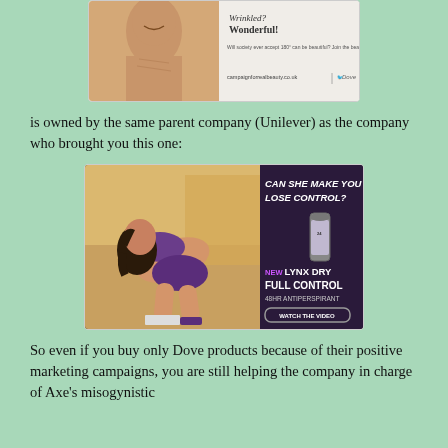[Figure (photo): Advertisement image at top - Dove Campaign for Real Beauty featuring an older woman, with campaignforrealbeauty.co.uk and Dove logo]
is owned by the same parent company (Unilever) as the company who brought you this one:
[Figure (photo): Lynx Dry Full Control advertisement showing a woman in purple swimwear bending over, with text 'CAN SHE MAKE YOU LOSE CONTROL?' and 'NEW LYNX DRY FULL CONTROL 48HR ANTIPERSPIRANT' and 'WATCH THE VIDEO']
So even if you buy only Dove products because of their positive marketing campaigns, you are still helping the company in charge of Axe's misogynistic